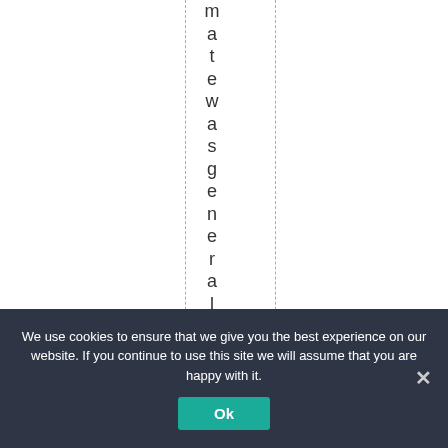matewas generally un
We use cookies to ensure that we give you the best experience on our website. If you continue to use this site we will assume that you are happy with it.
Ok